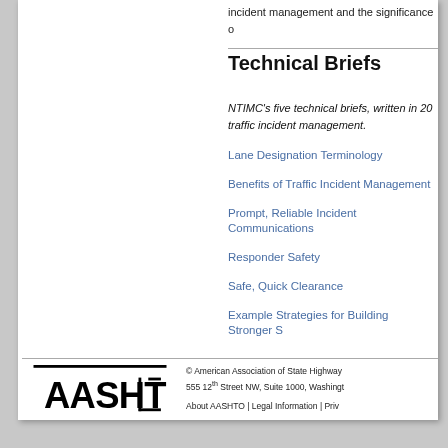incident management and the significance o
Technical Briefs
NTIMC's five technical briefs, written in 20... traffic incident management.
Lane Designation Terminology
Benefits of Traffic Incident Management
Prompt, Reliable Incident Communications
Responder Safety
Safe, Quick Clearance
Example Strategies for Building Stronger S
© American Association of State Highway 555 12th Street NW, Suite 1000, Washingt About AASHTO | Legal Information | Priv